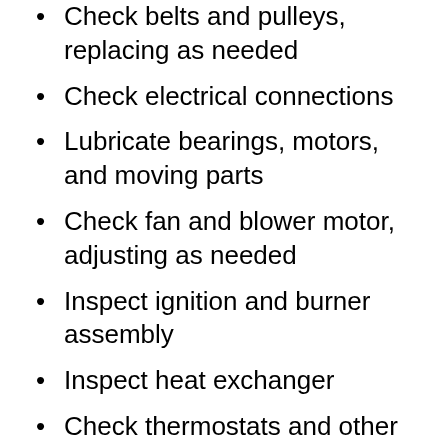Check belts and pulleys, replacing as needed
Check electrical connections
Lubricate bearings, motors, and moving parts
Check fan and blower motor, adjusting as needed
Inspect ignition and burner assembly
Inspect heat exchanger
Check thermostats and other controls
Sacramento, CA, business owners can save money by having their commercial HVAC equipment regularly maintained by professionals. Call Kendrick Heating and Air at 916-350-1300 to discuss your...